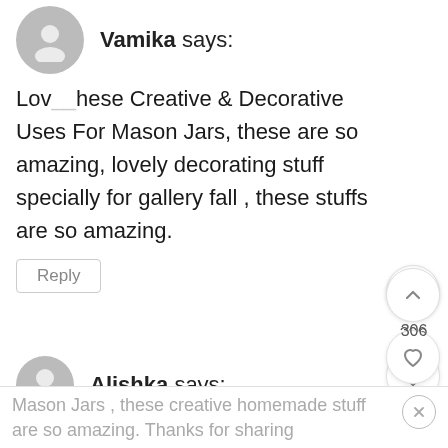Vamika says:
Love these Creative & Decorative Uses For Mason Jars, these are so amazing, lovely decorating stuff specially for gallery fall , these stuffs are so amazing.
Reply
306
Alishka says:
Love these Creative & Decorative Uses For
Mason Jars , these creative homemade stuff are so amazing. Thanks for sharing